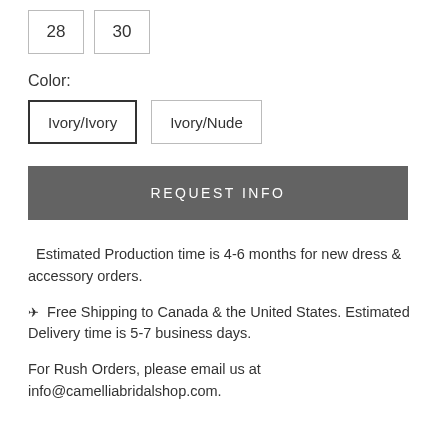28
30
Color:
Ivory/Ivory
Ivory/Nude
REQUEST INFO
Estimated Production time is 4-6 months for new dress & accessory orders.
✈ Free Shipping to Canada & the United States. Estimated Delivery time is 5-7 business days.
For Rush Orders, please email us at info@camelliabridalshop.com.